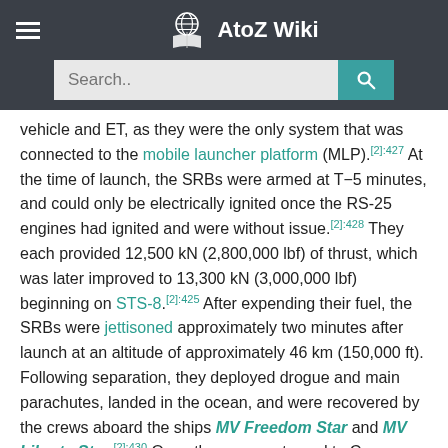AtoZ Wiki
vehicle and ET, as they were the only system that was connected to the mobile launcher platform (MLP).[2]:427 At the time of launch, the SRBs were armed at T−5 minutes, and could only be electrically ignited once the RS-25 engines had ignited and were without issue.[2]:428 They each provided 12,500 kN (2,800,000 lbf) of thrust, which was later improved to 13,300 kN (3,000,000 lbf) beginning on STS-8.[2]:425 After expending their fuel, the SRBs were jettisoned approximately two minutes after launch at an altitude of approximately 46 km (150,000 ft). Following separation, they deployed drogue and main parachutes, landed in the ocean, and were recovered by the crews aboard the ships MV Freedom Star and MV Liberty Star.[2]:430 Once they were returned to Cape Canaveral, they were cleaned and disassembled. The rocket motor, igniter, and nozzle were then shipped to Thiokol to be refurbished and reused on subsequent flights.[12]:124